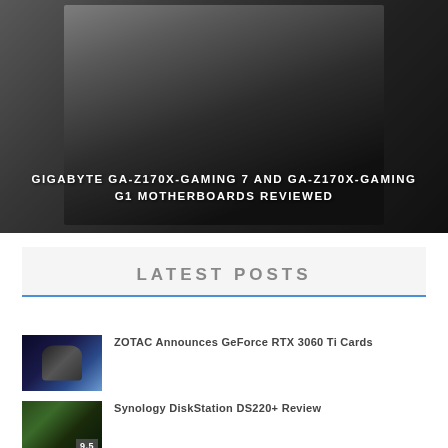[Figure (photo): Hero banner image showing Gigabyte gaming motherboard product box with dark background]
GIGABYTE GA-Z170X-GAMING 7 AND GA-Z170X-GAMING G1 MOTHERBOARDS REVIEWED
LATEST POSTS
ZOTAC Announces GeForce RTX 3060 Ti Cards
Synology DiskStation DS220+ Review
NZXT Introduces N7 Z490 ATX Motherboard